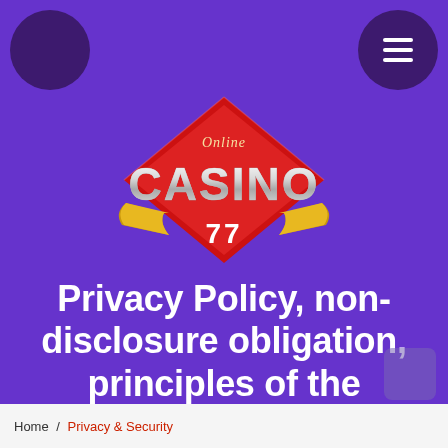[Figure (logo): Online Casino 77 logo — red diamond shape with gold decorative scroll/banner, text 'Online' above and 'CASINO' in large metallic letters, '77' at the bottom on the red diamond]
Privacy Policy, non-disclosure obligation, principles of the resource
Home / Privacy & Security